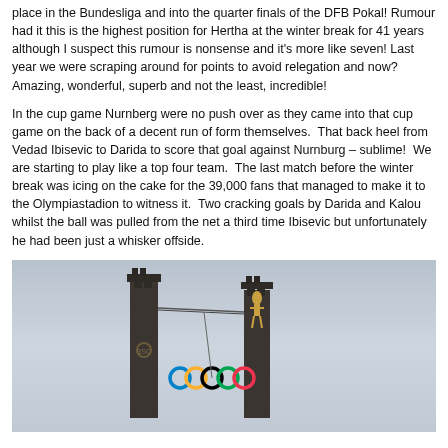place in the Bundesliga and into the quarter finals of the DFB Pokal! Rumour had it this is the highest position for Hertha at the winter break for 41 years although I suspect this rumour is nonsense and it's more like seven! Last year we were scraping around for points to avoid relegation and now? Amazing, wonderful, superb and not the least, incredible!
In the cup game Nurnberg were no push over as they came into that cup game on the back of a decent run of form themselves.  That back heel from Vedad Ibisevic to Darida to score that goal against Nurnburg – sublime!  We are starting to play like a top four team.  The last match before the winter break was icing on the cake for the 39,000 fans that managed to make it to the Olympiastadion to witness it.  Two cracking goals by Darida and Kalou whilst the ball was pulled from the net a third time Ibisevic but unfortunately he had been just a whisker offside.
[Figure (photo): Photo of two tall stone/concrete pillars or towers at the Olympiastadion, with the Olympic rings visible hanging between them on cables, against a grey overcast sky. A golden figure can be seen on the right pillar.]